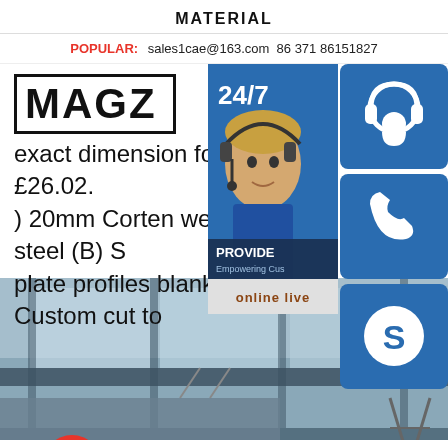MATERIAL
POPULAR:  sales1cae@163.com  86 371 86151827
MAGZ
exact dimension for pricing. £26.02. ) 20mm Corten weathering steel (B) S plate profiles blanks - Custom cut to
[Figure (photo): Industrial warehouse/factory interior with structural beams, large windows, and a blue vehicle visible at bottom right. Red gear/settings button overlaid at bottom left.]
[Figure (infographic): Customer service widget panel on right side: blue background with 24/7 text and customer service representative photo. Three blue icon buttons (headset, phone, Skype). 'PROVIDE - Empowering Customers' text strip. 'online live' button.]